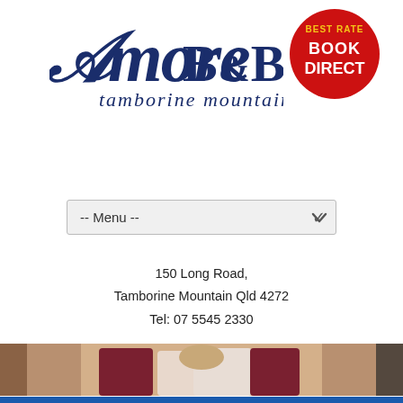[Figure (logo): Amore B&B Tamborine Mountain logo in dark navy blue script and serif text, with a red circular badge reading BEST RATE BOOK DIRECT in yellow and white text]
[Figure (other): A dropdown menu bar labeled -- Menu -- with a chevron arrow on the right side]
150 Long Road,
Tamborine Mountain Qld 4272
Tel: 07 5545 2330
[Figure (photo): Photograph of a luxurious B&B bedroom with ornate white headboard, dark red and white pillows, bedside lamps, and soft curtains in the background]